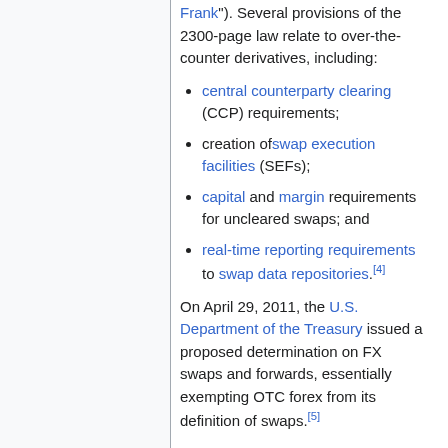Frank"). Several provisions of the 2300-page law relate to over-the-counter derivatives, including:
central counterparty clearing (CCP) requirements;
creation of swap execution facilities (SEFs);
capital and margin requirements for uncleared swaps; and
real-time reporting requirements to swap data repositories.[4]
On April 29, 2011, the U.S. Department of the Treasury issued a proposed determination on FX swaps and forwards, essentially exempting OTC forex from its definition of swaps.[5]
On July 19, 2011, the CFTC issued its final rule on the review of swaps for mandatory clearing, which outlined the